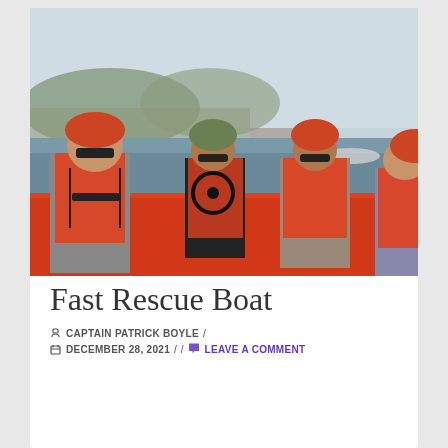[Figure (photo): Four people wearing orange life vests and orange/red helmets sitting in a fast rescue boat on water. A harbor and hills visible in the background.]
Fast Rescue Boat
✏ CAPTAIN PATRICK BOYLE / 📅 DECEMBER 28, 2021 / / 💬 LEAVE A COMMENT